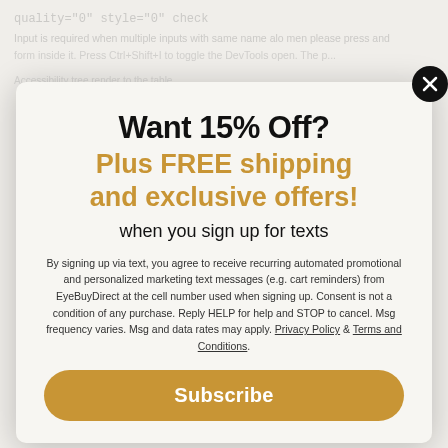[Figure (screenshot): Blurred/dimmed website background content visible behind popup modal]
Want 15% Off?
Plus FREE shipping and exclusive offers!
when you sign up for texts
By signing up via text, you agree to receive recurring automated promotional and personalized marketing text messages (e.g. cart reminders) from EyeBuyDirect at the cell number used when signing up. Consent is not a condition of any purchase. Reply HELP for help and STOP to cancel. Msg frequency varies. Msg and data rates may apply. Privacy Policy & Terms and Conditions.
Subscribe